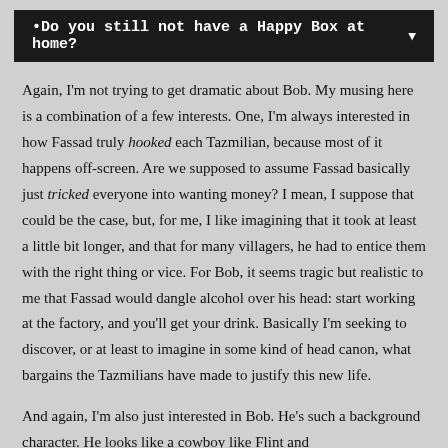•Do you still not have a Happy Box at home?
Again, I'm not trying to get dramatic about Bob. My musing here is a combination of a few interests. One, I'm always interested in how Fassad truly hooked each Tazmilian, because most of it happens off-screen. Are we supposed to assume Fassad basically just tricked everyone into wanting money? I mean, I suppose that could be the case, but, for me, I like imagining that it took at least a little bit longer, and that for many villagers, he had to entice them with the right thing or vice. For Bob, it seems tragic but realistic to me that Fassad would dangle alcohol over his head: start working at the factory, and you'll get your drink. Basically I'm seeking to discover, or at least to imagine in some kind of head canon, what bargains the Tazmilians have made to justify this new life.
And again, I'm also just interested in Bob. He's such a background character. He looks like a cowboy like Flint and